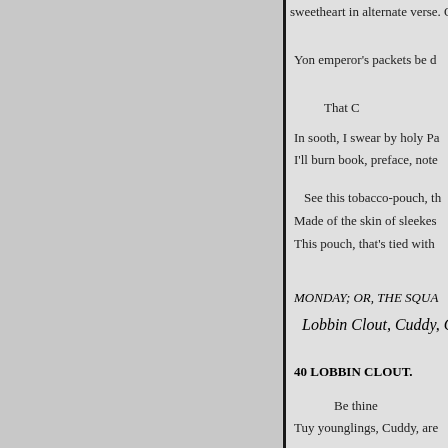sweetheart in alternate verse. Or,
Yon emperor's packets be d
That C
In sooth, I swear by holy Pa
I'll burn book, preface, note
See this tobacco-pouch, th
Made of the skin of sleekes
This pouch, that's tied with
MONDAY; OR, THE SQUA
Lobbin Clout, Cuddy, Cl
40 LOBBIN CLOUT.
Be thine
Tuy younglings, Cuddy, are
No thrustles shrill the bram
No h i i h d th lli